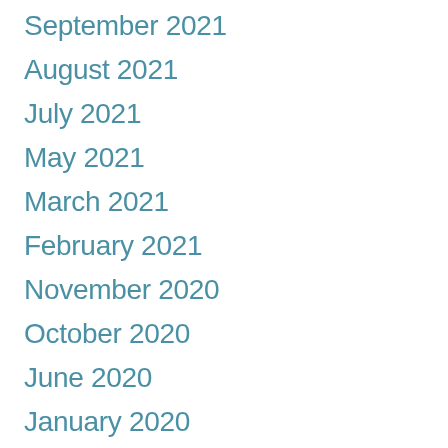September 2021
August 2021
July 2021
May 2021
March 2021
February 2021
November 2020
October 2020
June 2020
January 2020
December 2019
April 2019